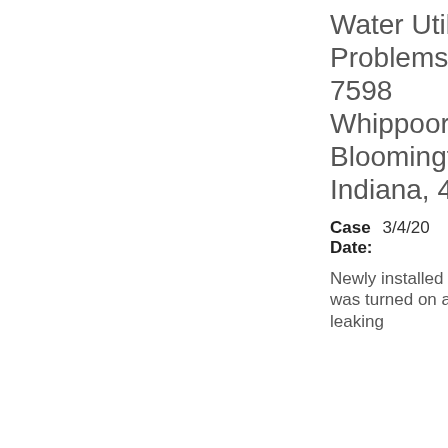Water Utility Problems 7400-7598 Whippoorwill Ln, Bloomington, Indiana, 47401
Case Date: 3/4/20
Newly installed water line was turned on and it is leaking